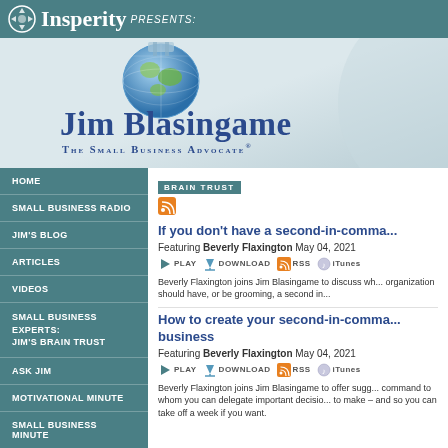Insperity PRESENTS:
[Figure (logo): Jim Blasingame The Small Business Advocate logo with globe graphic]
HOME
SMALL BUSINESS RADIO
JIM'S BLOG
ARTICLES
VIDEOS
SMALL BUSINESS EXPERTS: JIM'S BRAIN TRUST
ASK JIM
MOTIVATIONAL MINUTE
SMALL BUSINESS MINUTE
BRAIN TRUST
If you don't have a second-in-comma...
Featuring Beverly Flaxington May 04, 2021
PLAY   DOWNLOAD   RSS   iTunes
Beverly Flaxington joins Jim Blasingame to discuss wh... organization should have, or be grooming, a second in...
How to create your second-in-comma... business
Featuring Beverly Flaxington May 04, 2021
PLAY   DOWNLOAD   RSS   iTunes
Beverly Flaxington joins Jim Blasingame to offer sugg... command to whom you can delegate important decisio... to make – and so you can take off a week if you want.